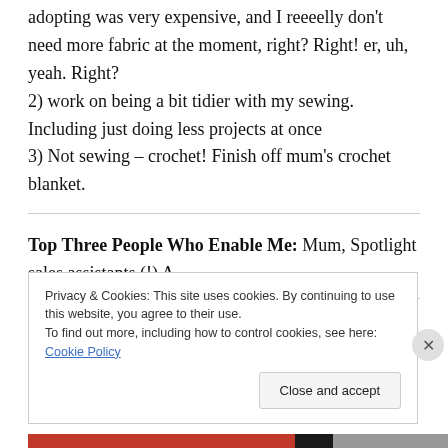adopting was very expensive, and I reeeelly don't need more fabric at the moment, right? Right! er, uh, yeah. Right?
2) work on being a bit tidier with my sewing. Including just doing less projects at once
3) Not sewing – crochet! Finish off mum's crochet blanket.
Top Three People Who Enable Me: Mum, Spotlight sales assistants (!) A
Privacy & Cookies: This site uses cookies. By continuing to use this website, you agree to their use.
To find out more, including how to control cookies, see here: Cookie Policy